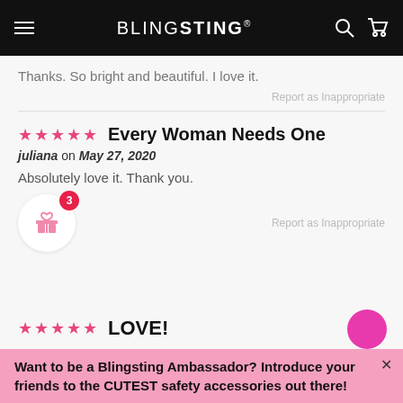[Figure (screenshot): BblingSting website header with logo, hamburger menu, search and cart icons on black background]
Thanks. So bright and beautiful. I love it.
Report as Inappropriate
Every Woman Needs One
juliana on May 27, 2020
Absolutely love it. Thank you.
Report as Inappropriate
LOVE!
Want to be a Blingsting Ambassador? Introduce your friends to the CUTEST safety accessories out there!